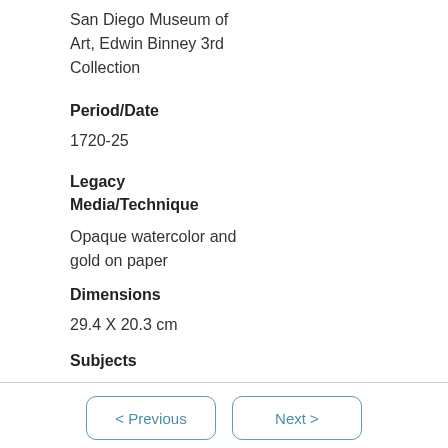San Diego Museum of Art, Edwin Binney 3rd Collection
Period/Date
1720-25
Legacy Media/Technique
Opaque watercolor and gold on paper
Dimensions
29.4 X 20.3 cm
Subjects
< Previous  Next >  Go to page: 1 of 111  Go